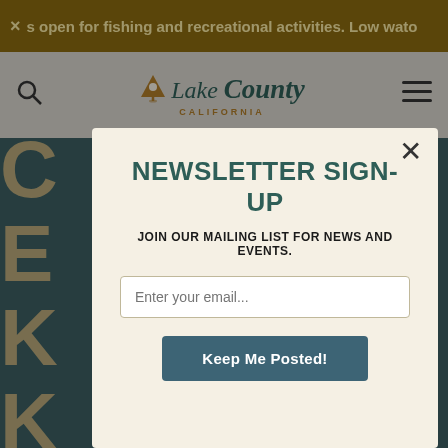× s open for fishing and recreational activities. Low wato...
[Figure (logo): Lake County California logo with mountain/map pin icon and stylized italic text]
KICKIN' IN THE COUNTRY STREET DANCE
NEWSLETTER SIGN-UP
JOIN OUR MAILING LIST FOR NEWS AND EVENTS.
Enter your email...
Keep Me Posted!